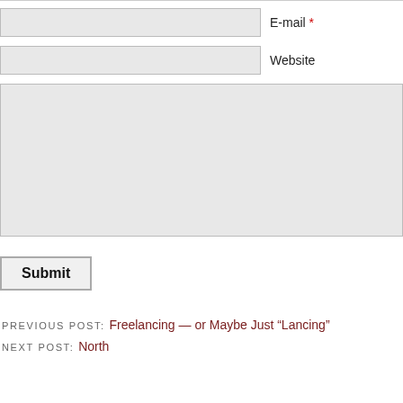E-mail *
Website
Submit
PREVIOUS POST: Freelancing — or Maybe Just “Lancing”
NEXT POST: North